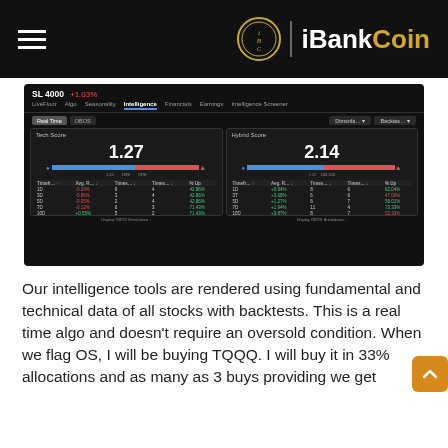iBankCoin
[Figure (screenshot): iBankCoin SL 4000 Intelligence dashboard screenshot showing Tech Score 1.27 and Hybrid Score 2.14 with OBOS tables for multiple time periods]
Our intelligence tools are rendered using fundamental and technical data of all stocks with backtests. This is a real time algo and doesn't require an oversold condition. When we flag OS, I will be buying TQQQ. I will buy it in 33% allocations and as many as 3 buys providing we get